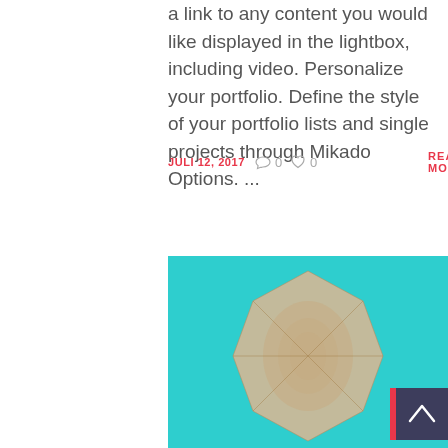a link to any content you would like displayed in the lightbox, including video. Personalize your portfolio. Define the style of your portfolio lists and single projects through Mikado Options. ...
JULI 12, 2017   0   0   READ MORE
[Figure (photo): A wooden geometric hexagonal/dodecahedral shape object photographed against a teal/turquoise background, with a dark navy scroll-to-top button in the bottom right corner with a chevron up arrow, and a red accent strip on its left side.]